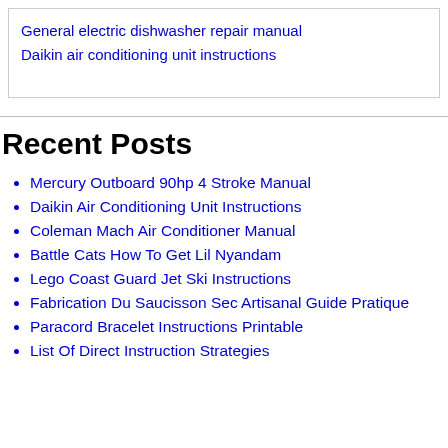General electric dishwasher repair manual
Daikin air conditioning unit instructions
Recent Posts
Mercury Outboard 90hp 4 Stroke Manual
Daikin Air Conditioning Unit Instructions
Coleman Mach Air Conditioner Manual
Battle Cats How To Get Lil Nyandam
Lego Coast Guard Jet Ski Instructions
Fabrication Du Saucisson Sec Artisanal Guide Pratique
Paracord Bracelet Instructions Printable
List Of Direct Instruction Strategies